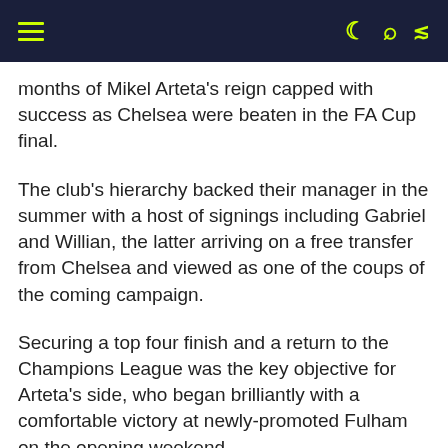[Navigation bar with hamburger menu and icons]
months of Mikel Arteta's reign capped with success as Chelsea were beaten in the FA Cup final.
The club's hierarchy backed their manager in the summer with a host of signings including Gabriel and Willian, the latter arriving on a free transfer from Chelsea and viewed as one of the coups of the coming campaign.
Securing a top four finish and a return to the Champions League was the key objective for Arteta's side, who began brilliantly with a comfortable victory at newly-promoted Fulham on the opening weekend.
Willian impressed on his first appearance fo...